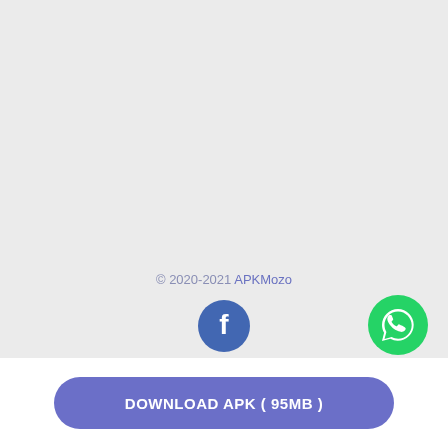© 2020-2021 APKMozo
[Figure (logo): Facebook icon - blue circle with white F logo]
[Figure (logo): WhatsApp icon - green circle with white speech bubble/phone logo]
DOWNLOAD APK ( 95MB )